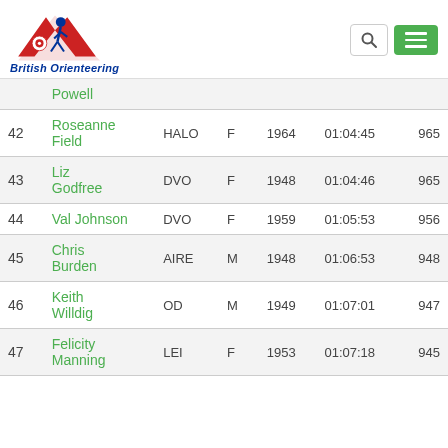[Figure (logo): British Orienteering logo with runner and target graphic, blue and red, with italic blue text 'British Orienteering']
| Pos | Name | Club | Gender | Year | Time | Score |
| --- | --- | --- | --- | --- | --- | --- |
|  | Powell |  |  |  |  |  |
| 42 | Roseanne Field | HALO | F | 1964 | 01:04:45 | 965 |
| 43 | Liz Godfree | DVO | F | 1948 | 01:04:46 | 965 |
| 44 | Val Johnson | DVO | F | 1959 | 01:05:53 | 956 |
| 45 | Chris Burden | AIRE | M | 1948 | 01:06:53 | 948 |
| 46 | Keith Willdig | OD | M | 1949 | 01:07:01 | 947 |
| 47 | Felicity Manning | LEI | F | 1953 | 01:07:18 | 945 |